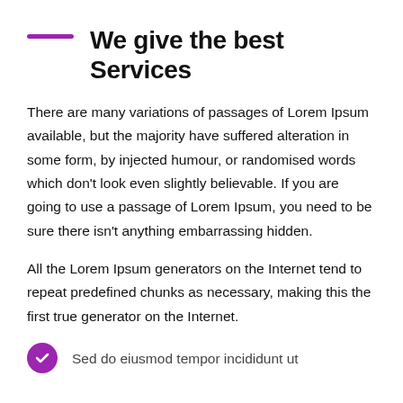We give the best Services
There are many variations of passages of Lorem Ipsum available, but the majority have suffered alteration in some form, by injected humour, or randomised words which don't look even slightly believable. If you are going to use a passage of Lorem Ipsum, you need to be sure there isn't anything embarrassing hidden.
All the Lorem Ipsum generators on the Internet tend to repeat predefined chunks as necessary, making this the first true generator on the Internet.
Sed do eiusmod tempor incididunt ut